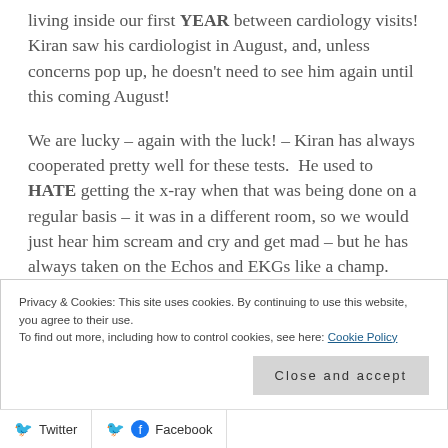living inside our first YEAR between cardiology visits! Kiran saw his cardiologist in August, and, unless concerns pop up, he doesn't need to see him again until this coming August!
We are lucky – again with the luck! – Kiran has always cooperated pretty well for these tests.  He used to HATE getting the x-ray when that was being done on a regular basis – it was in a different room, so we would just hear him scream and cry and get mad – but he has always taken on the Echos and EKGs like a champ.  Star patient.  It's a good thing, because he's been a frequent patient his
Privacy & Cookies: This site uses cookies. By continuing to use this website, you agree to their use.
To find out more, including how to control cookies, see here: Cookie Policy
Close and accept
Twitter   Facebook